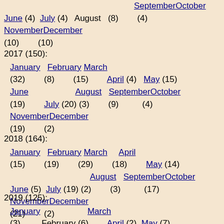September October (8) (4) June (4) July (4) August November December (10) (10)
2017 (150): January (32) February (8) March (15) April (4) May (15) June (19) July (20) August (3) September (9) October (4) November (19) December (2)
2018 (164): January (15) February (19) March (29) April (18) May (14) June (5) July (19) August (2) September (3) October (17) November (21) December (2)
2019 (125): January (3) February March (6) April (2) May (7) June (17) July (2) August (2) September (9) October (5) November (52) December (20)